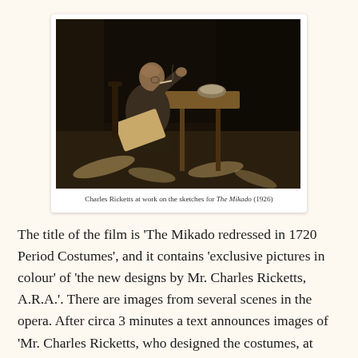[Figure (photo): Black and white / sepia photograph of Charles Ricketts sitting at a table working on sketches, with papers scattered on the floor around him.]
Charles Ricketts at work on the sketches for The Mikado (1926)
The title of the film is 'The Mikado redressed in 1720 Period Costumes', and it contains 'exclusive pictures in colour' of 'the new designs by Mr. Charles Ricketts, A.R.A.'. There are images from several scenes in the opera. After circa 3 minutes a text announces images of 'Mr. Charles Ricketts, who designed the costumes, at work on the rough sketches'. He sits at a table, with a sketch board in his lap, and a cigarette in the corner of his mouth. The floor is scattered with designs.
Next, we are informed that 'the famous artist has no use for an ash tray', as he uses a bowl of water for cleaning his brush as well as